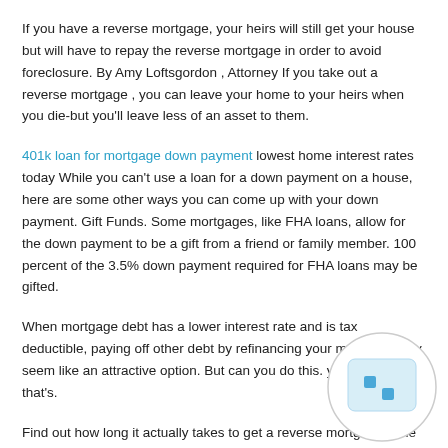If you have a reverse mortgage, your heirs will still get your house but will have to repay the reverse mortgage in order to avoid foreclosure. By Amy Loftsgordon , Attorney If you take out a reverse mortgage , you can leave your home to your heirs when you die-but you'll leave less of an asset to them.
401k loan for mortgage down payment lowest home interest rates today While you can't use a loan for a down payment on a house, here are some other ways you can come up with your down payment. Gift Funds. Some mortgages, like FHA loans, allow for the down payment to be a gift from a friend or family member. 100 percent of the 3.5% down payment required for FHA loans may be gifted.
When mortgage debt has a lower interest rate and is tax deductible, paying off other debt by refinancing your mortgage may seem like an attractive option. But can you do this. you have debt that's.
Find out how long it actually takes to get a reverse mortgage. One persons experience may not equate to what time period you need to
[Figure (other): A circular icon/badge with a light blue rounded rectangle containing two small blue squares (dots), overlapping the bottom-right area of the page.]